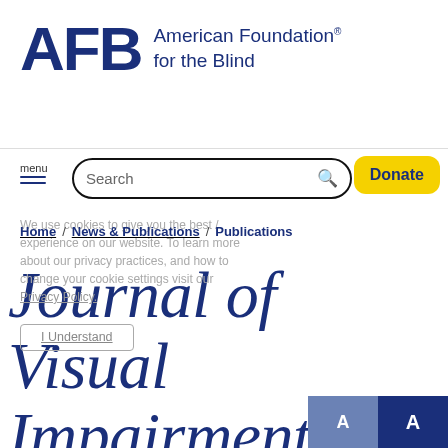[Figure (logo): AFB American Foundation for the Blind logo with large AFB letters in navy blue and text 'American Foundation® for the Blind']
menu (hamburger icon)
Search (search bar with magnifying glass icon)
Donate (yellow button)
Home / News & Publications / Publications
We use cookies to give you the best / experience on our website. To learn more about our privacy practices, and how to change your cookie settings visit our Privacy Policy.
I Understand
Journal of Visual Impairment & Blindness
[Figure (other): Two font-size toggle buttons 'A' and 'A' in blue and dark navy at the bottom right]